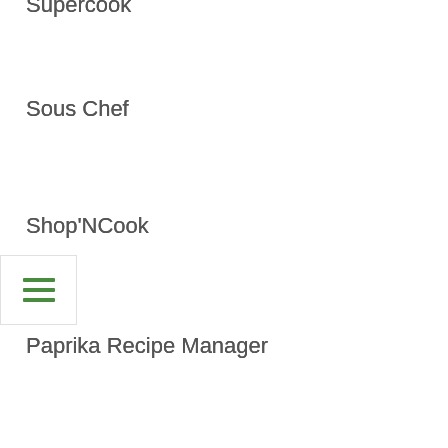Supercook
Sous Chef
Shop'NCook
Paprika Recipe Manager
MasterCook
MacGourmet Deluxe
Home cooking
Epicurious
Cook Street
cook'n